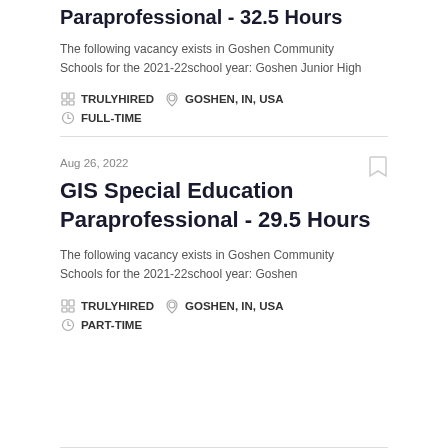Paraprofessional - 32.5 Hours
The following vacancy exists in Goshen Community Schools for the 2021-22school year: Goshen Junior High
TRULYHIRED   GOSHEN, IN, USA   FULL-TIME
Aug 26, 2022
GIS Special Education Paraprofessional - 29.5 Hours
The following vacancy exists in Goshen Community Schools for the 2021-22school year: Goshen
TRULYHIRED   GOSHEN, IN, USA   PART-TIME